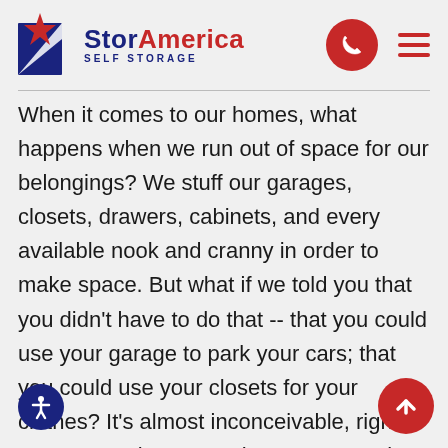[Figure (logo): StorAmerica Self Storage logo with blue and red star graphic on left, company name in blue and red text]
When it comes to our homes, what happens when we run out of space for our belongings? We stuff our garages, closets, drawers, cabinets, and every available nook and cranny in order to make space. But what if we told you that you didn't have to do that -- that you could use your garage to park your cars; that you could use your closets for your clothes? It's almost inconceivable, right? At StorAmerica Sun Lakes, we can solve your storage problems and more!